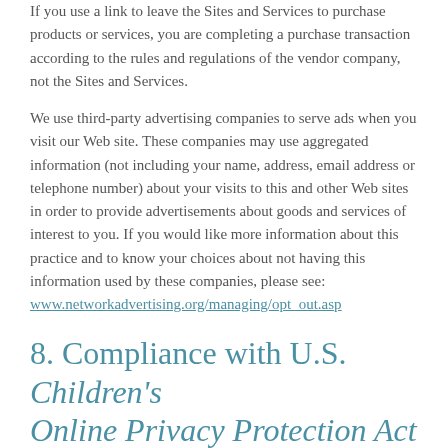If you use a link to leave the Sites and Services to purchase products or services, you are completing a purchase transaction according to the rules and regulations of the vendor company, not the Sites and Services.
We use third-party advertising companies to serve ads when you visit our Web site. These companies may use aggregated information (not including your name, address, email address or telephone number) about your visits to this and other Web sites in order to provide advertisements about goods and services of interest to you. If you would like more information about this practice and to know your choices about not having this information used by these companies, please see:
www.networkadvertising.org/managing/opt_out.asp
8. Compliance with U.S. Children's Online Privacy Protection Act
The safety and privacy of children is important to us. We do not knowingly collect or maintain information from users who are under the age of 13. The Sites and Services are directed